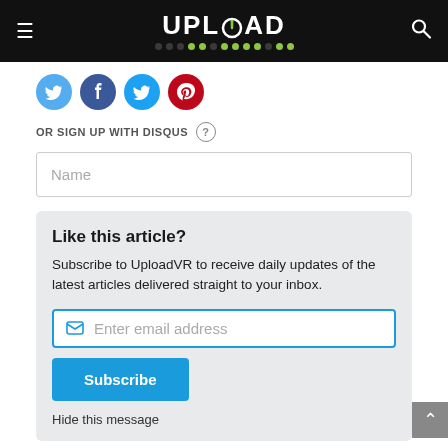UPLOAD
[Figure (screenshot): Social media share icons: Twitter (light blue), Facebook (dark blue), Twitter (blue), Pinterest (red) as colored circles]
OR SIGN UP WITH DISQUS
Name
Like this article?
Subscribe to UploadVR to receive daily updates of the latest articles delivered straight to your inbox.
Enter email address
Subscribe
Hide this message
Brandon Jones